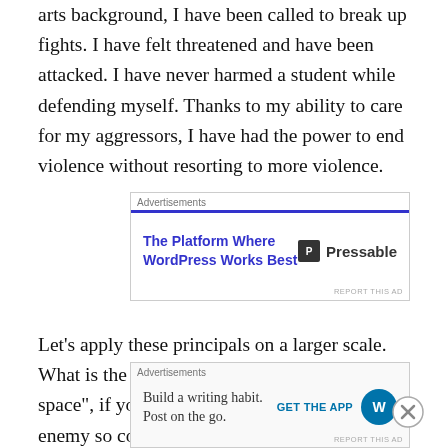arts background, I have been called to break up fights. I have felt threatened and have been attacked. I have never harmed a student while defending myself. Thanks to my ability to care for my aggressors, I have had the power to end violence without resorting to more violence.
[Figure (screenshot): Advertisement box for Pressable hosting: 'The Platform Where WordPress Works Best' with Pressable logo and blue top bar]
Let’s apply these principals on a larger scale. What is the best way to “dominate the battle space”, if you are so inclined? To subdue an enemy so completely that they will bond low and submit? For many of us, the answer should
[Figure (screenshot): Advertisement box: 'Build a writing habit. Post on the go.' with GET THE APP button and WordPress logo]